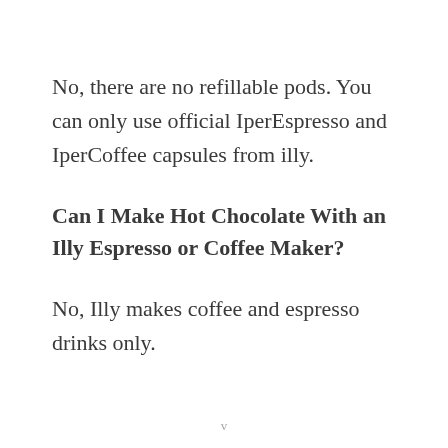No, there are no refillable pods. You can only use official IperEspresso and IperCoffee capsules from illy.
Can I Make Hot Chocolate With an Illy Espresso or Coffee Maker?
No, Illy makes coffee and espresso drinks only.
v